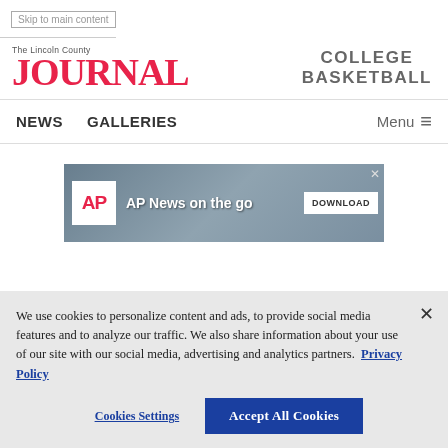Skip to main content
[Figure (logo): The Lincoln County Journal logo with red JOURNAL text]
COLLEGE BASKETBALL
NEWS   GALLERIES   Menu
[Figure (screenshot): AP News on the go advertisement banner with silhouettes and DOWNLOAD button]
We use cookies to personalize content and ads, to provide social media features and to analyze our traffic. We also share information about your use of our site with our social media, advertising and analytics partners. Privacy Policy
Cookies Settings   Accept All Cookies